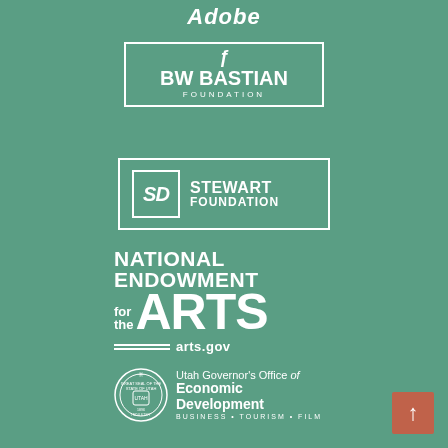[Figure (logo): Adobe logo text in white italic bold font on teal/green background]
[Figure (logo): BW Bastian Foundation logo with bracket border, icon, bold text, and FOUNDATION subtitle in white on teal background]
[Figure (logo): SD Stewart Foundation logo with SD monogram in bordered box and STEWART FOUNDATION text in white on teal background with white border]
[Figure (logo): National Endowment for the Arts logo with large ARTS text and arts.gov url in white on teal background]
[Figure (logo): Utah Governor's Office of Economic Development logo with state seal and text in white on teal background]
[Figure (other): Back to top button: orange/terracotta square with white upward arrow in bottom right corner]